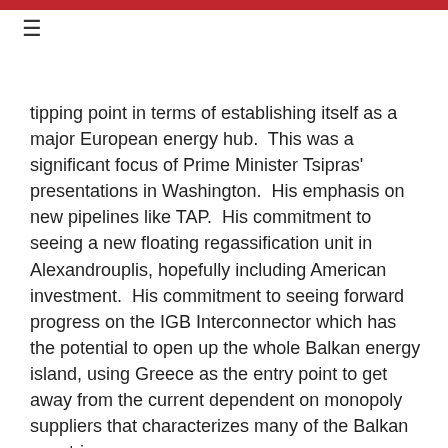≡
tipping point in terms of establishing itself as a major European energy hub.  This was a significant focus of Prime Minister Tsipras' presentations in Washington.  His emphasis on new pipelines like TAP.  His commitment to seeing a new floating regassification unit in Alexandrouplis, hopefully including American investment.  His commitment to seeing forward progress on the IGB Interconnector which has the potential to open up the whole Balkan energy island, using Greece as the entry point to get away from the current dependent on monopoly suppliers that characterizes many of the Balkan countries.
So energy is an obvious area of growth.  There is clear interest from American companies.  And I'm encouraged also that there is such a convergence between American perspectives, Greek government perspectives, and